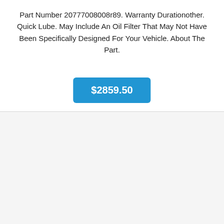Part Number 20777008008r89. Warranty Durationother. Quick Lube. May Include An Oil Filter That May Not Have Been Specifically Designed For Your Vehicle. About The Part.
$2859.50
[Figure (photo): Gray automotive front bumper cover, viewed from the front, showing fog light openings and lower grille opening]